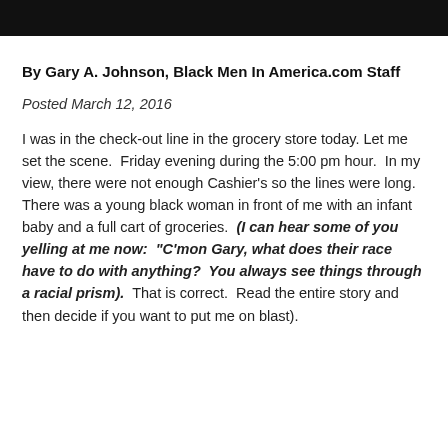By Gary A. Johnson, Black Men In America.com Staff
Posted March 12, 2016
I was in the check-out line in the grocery store today. Let me set the scene. Friday evening during the 5:00 pm hour. In my view, there were not enough Cashier’s so the lines were long. There was a young black woman in front of me with an infant baby and a full cart of groceries. (I can hear some of you yelling at me now: “C’mon Gary, what does their race have to do with anything? You always see things through a racial prism). That is correct. Read the entire story and then decide if you want to put me on blast).